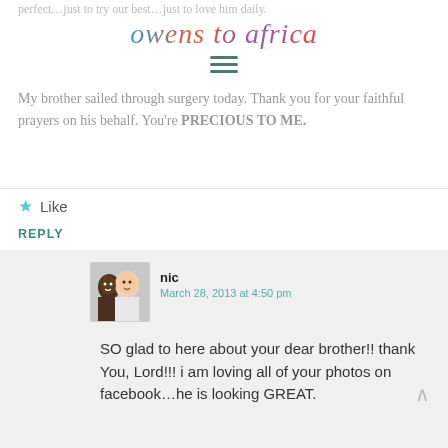perfect…just to try our best…just to love him daily.
[Figure (logo): Owens to Africa blog logo in colorful script font]
My brother sailed through surgery today. Thank you for your faithful prayers on his behalf. You're PRECIOUS TO ME.
Like
REPLY
[Figure (photo): Avatar photo of two children smiling]
nic
March 28, 2013 at 4:50 pm
SO glad to here about your dear brother!! thank You, Lord!!! i am loving all of your photos on facebook…he is looking GREAT.